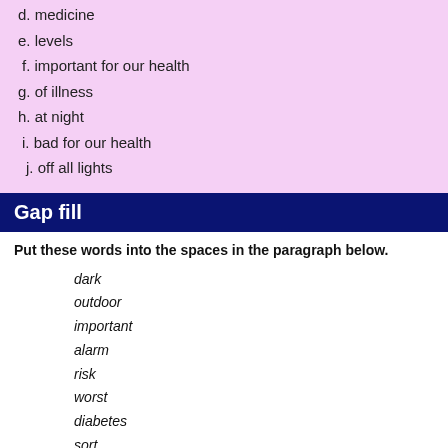d. medicine
e. levels
f. important for our health
g. of illness
h. at night
i. bad for our health
j. off all lights
Gap fill
Put these words into the spaces in the paragraph below.
dark
outdoor
important
alarm
risk
worst
diabetes
sort
Everyone knows that good sleep is (1) _____________________ for our health. Not everyone knows how important it is to sleep in the (2) _____________________. A new report says sleeping with the light on could be bad for our health. Researchers say turning off the light when we sleep helps to keep away (3) _____________________ and heart disease. Sleeping with the light on could increase the (4) _____________________ of